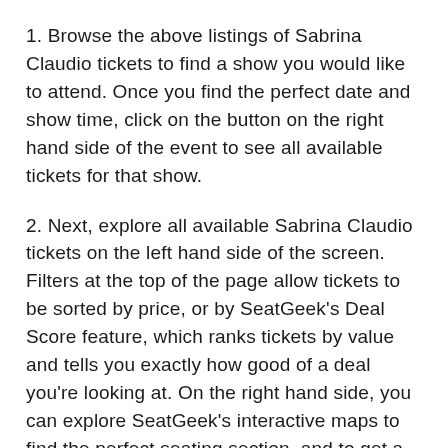1. Browse the above listings of Sabrina Claudio tickets to find a show you would like to attend. Once you find the perfect date and show time, click on the button on the right hand side of the event to see all available tickets for that show.
2. Next, explore all available Sabrina Claudio tickets on the left hand side of the screen. Filters at the top of the page allow tickets to be sorted by price, or by SeatGeek's Deal Score feature, which ranks tickets by value and tells you exactly how good of a deal you're looking at. On the right hand side, you can explore SeatGeek's interactive maps to find the perfect seating section, and to get a preview of what a view from a seat in that section will look like.
3. To buy Sabrina Claudio tickets, click the ticket listing and you will be directed to SeatGeek's checkout process to complete the information fields